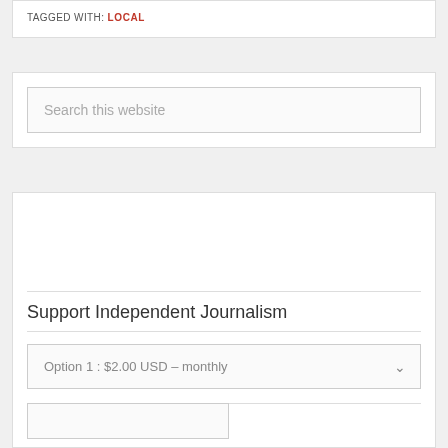TAGGED WITH: LOCAL
Search this website
Support Independent Journalism
Option 1 : $2.00 USD – monthly